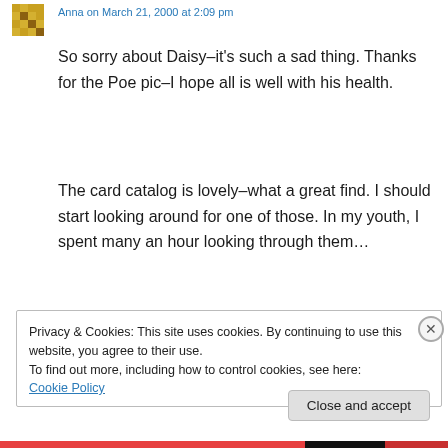[Figure (logo): Small decorative avatar icon with orange/gold geometric pattern]
Anna on March 21, 2000 at 2:09 pm
So sorry about Daisy–it's such a sad thing. Thanks for the Poe pic–I hope all is well with his health.
The card catalog is lovely–what a great find. I should start looking around for one of those. In my youth, I spent many an hour looking through them…
↵ Reply
Privacy & Cookies: This site uses cookies. By continuing to use this website, you agree to their use.
To find out more, including how to control cookies, see here: Cookie Policy
Close and accept